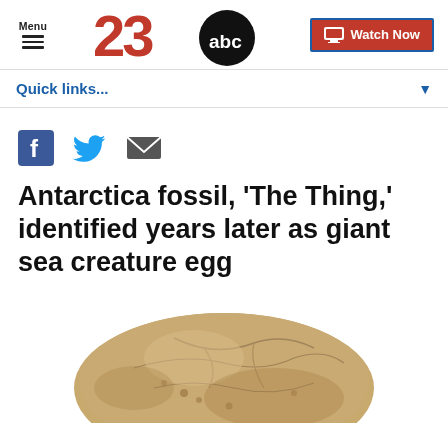Menu | 23abc | Watch Now
Quick links...
[Figure (screenshot): Social sharing icons: Facebook (f), Twitter bird, Email envelope]
Antarctica fossil, 'The Thing,' identified years later as giant sea creature egg
[Figure (photo): Photo of a brownish-tan fossil egg — flat and roughly oval shaped, sitting on a white background, identified as 'The Thing' fossil from Antarctica.]